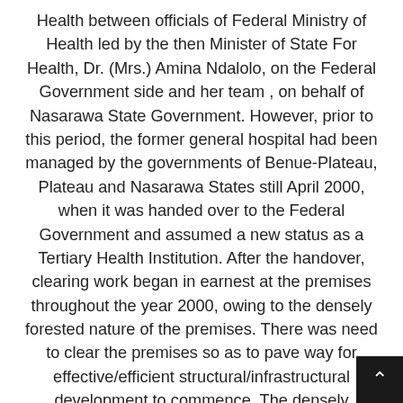Health between officials of Federal Ministry of Health led by the then Minister of State For Health, Dr. (Mrs.) Amina Ndalolo, on the Federal Government side and her team , on behalf of Nasarawa State Government. However, prior to this period, the former general hospital had been managed by the governments of Benue-Plateau, Plateau and Nasarawa States still April 2000, when it was handed over to the Federal Government and assumed a new status as a Tertiary Health Institution. After the handover, clearing work began in earnest at the premises throughout the year 2000, owing to the densely forested nature of the premises. There was need to clear the premises so as to pave way for effective/efficient structural/infrastructural development to commence. The densely forested environment was haven to all sorts of dangerous rept which compelled the pioneer Medical Director, Dr. Dan Sulai to employ the services of a snake charmer to rid the